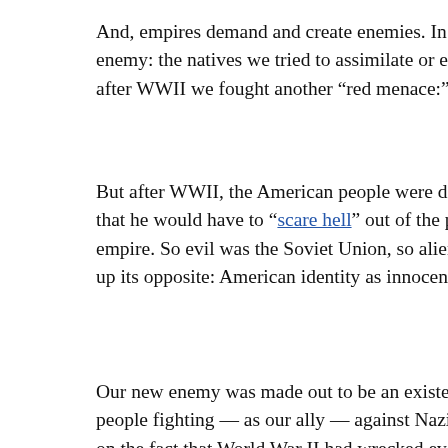And, empires demand and create enemies. In the opening act of enemy: the natives we tried to assimilate or eliminate. In the cli after WWII we fought another “red menace:” the Soviet Union a
But after WWII, the American people were deeply tired of war. that he would have to “scare hell” out of the people to commit t empire. So evil was the Soviet Union, so alien was their way of up its opposite: American identity as innocent, good, chosen and
Our new enemy was made out to be an existential threat even th people fighting — as our ally — against Nazi Germany. Our glo on the fact that World War II had wrecked every major competit without equal.
Under the cover of Cold War the US empire all but disappeared according to the official story, an empire at all but the world’s g free world. We were not to blame for the costs of empire buildin Chinese or the Vietnamese or the international communist consp